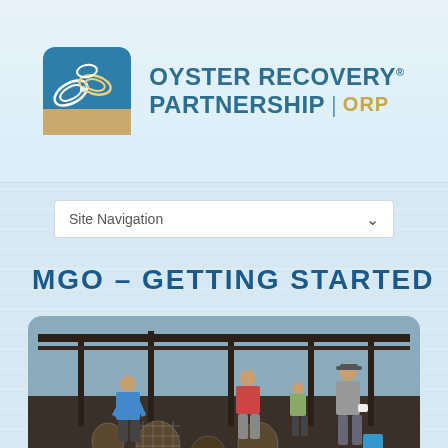[Figure (logo): Oyster Recovery Partnership logo with ORP icon and text]
[Figure (other): Site navigation dropdown selector]
MGO – GETTING STARTED
[Figure (photo): People working outdoors sorting oysters in wire baskets under a dock structure]